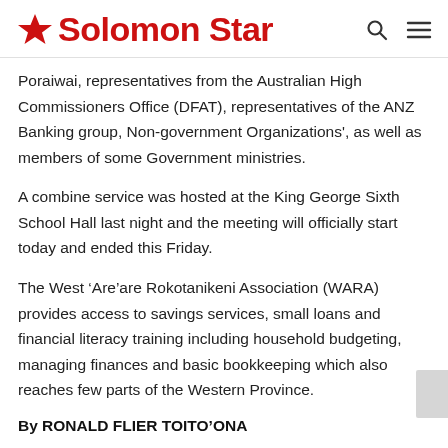Solomon Star
Poraiwai, representatives from the Australian High Commissioners Office (DFAT), representatives of the ANZ Banking group, Non-government Organizations', as well as members of some Government ministries.
A combine service was hosted at the King George Sixth School Hall last night and the meeting will officially start today and ended this Friday.
The West ‘Are’are Rokotanikeni Association (WARA) provides access to savings services, small loans and financial literacy training including household budgeting, managing finances and basic bookkeeping which also reaches few parts of the Western Province.
By RONALD FLIER TOITO’ONA